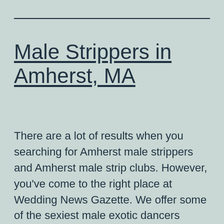Male Strippers in Amherst, MA
There are a lot of results when you searching for Amherst male strippers and Amherst male strip clubs. However, you've come to the right place at Wedding News Gazette. We offer some of the sexiest male exotic dancers you've ever seen. We have a diverse group of